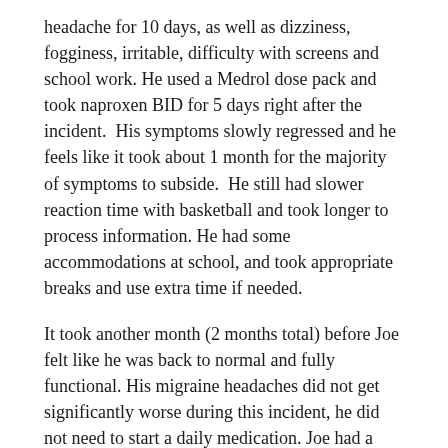headache for 10 days, as well as dizziness, fogginess, irritable, difficulty with screens and school work. He used a Medrol dose pack and took naproxen BID for 5 days right after the incident.  His symptoms slowly regressed and he feels like it took about 1 month for the majority of symptoms to subside.  He still had slower reaction time with basketball and took longer to process information. He had some accommodations at school, and took appropriate breaks and use extra time if needed.
It took another month (2 months total) before Joe felt like he was back to normal and fully functional. His migraine headaches did not get significantly worse during this incident, he did not need to start a daily medication. Joe had a routine follow up appointment during the summer 2017 and continued to do well. He was having more stress heading into his senior year around the college application process.
Fast forward to concussion #3: In early October 2017, Joe